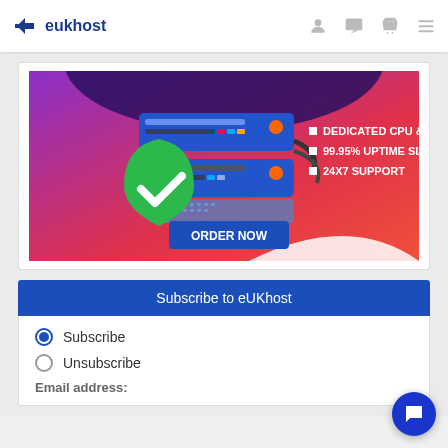[Figure (logo): eukhost logo with stylized arrow/chevron icon in blue]
[Figure (infographic): eukhost ad banner with server illustration, green shield checkmark, text: DEDICATED CPU & RAM, 99.95% UPTIME SLA, 24X7 SUPPORT, and ORDER NOW button on pink/purple gradient background]
Subscribe to eUKhost
Subscribe
Unsubscribe
Email address: